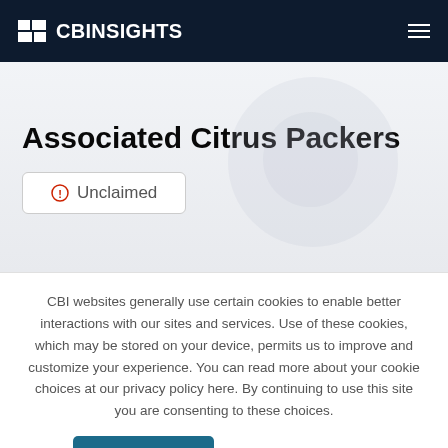CB Insights
Associated Citrus Packers
Unclaimed
CBI websites generally use certain cookies to enable better interactions with our sites and services. Use of these cookies, which may be stored on your device, permits us to improve and customize your experience. You can read more about your cookie choices at our privacy policy here. By continuing to use this site you are consenting to these choices.
I ACCEPT
I DO NOT ACCEPT